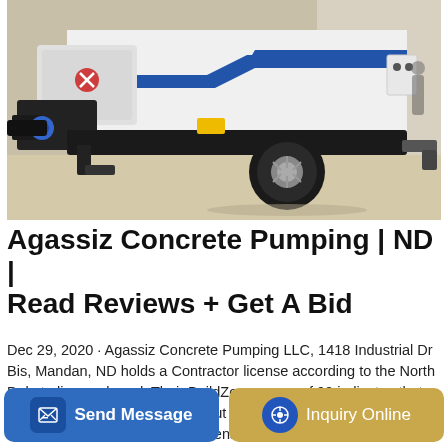[Figure (photo): A white concrete pump truck with blue stripe markings, photographed at ground level on a paved surface near a building. The machine has a large hopper, pump mechanism, and a tire visible.]
Agassiz Concrete Pumping | ND | Read Reviews + Get A Bid
Dec 29, 2020 · Agassiz Concrete Pumping LLC, 1418 Industrial Dr Bis, Mandan, ND holds a Contractor license according to the North Dakota license board. Their BuildZoom score of 90 indicates that they are licensed or registered but we do not have additional information about them. Their license was verified as active when we last checked.
Send Message
Inquiry Online